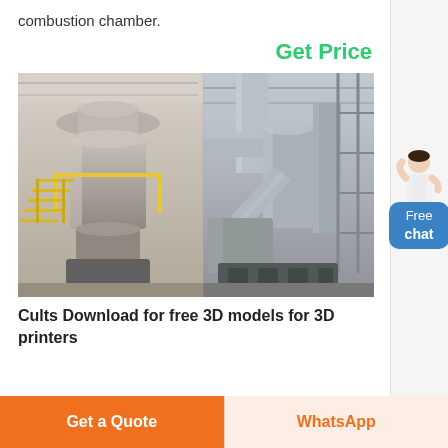combustion chamber.
Get Price
[Figure (photo): Industrial grinding mill installation inside a large factory. Left side shows a large vertical roller mill with yellow metal staircases and railings. Right side shows large cylindrical dust collector pipes and industrial equipment.]
Cults Download for free 3D models for 3D printers
[Figure (other): Side widget with avatar of person and blue Free chat button]
Get a Quote
WhatsApp